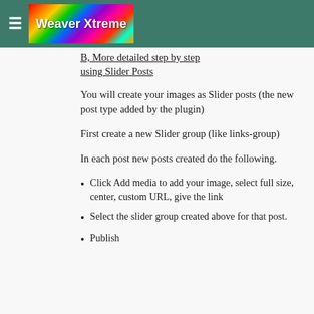Weaver Xtreme
B, More detailed step by step using Slider Posts
You will create your images as Slider posts (the new post type added by the plugin)
First create a new Slider group (like links-group)
In each post new posts created do the following.
Click Add media to add your image, select full size, center, custom URL, give the link
Select the slider group created above for that post.
Publish